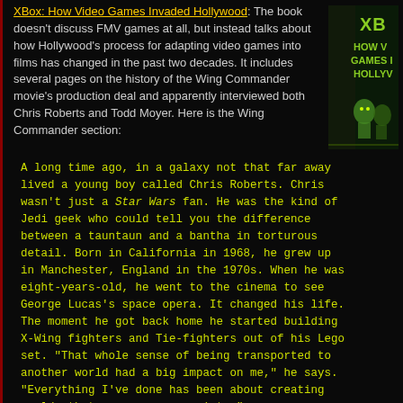XBox: How Video Games Invaded Hollywood: The book doesn't discuss FMV games at all, but instead talks about how Hollywood's process for adapting video games into films has changed in the past two decades. It includes several pages on the history of the Wing Commander movie's production deal and apparently interviewed both Chris Roberts and Todd Moyer. Here is the Wing Commander section:
[Figure (photo): Book cover showing 'XBox: How Video Games Invaded Hollywood' with green robot/character figures on dark background]
A long time ago, in a galaxy not that far away lived a young boy called Chris Roberts. Chris wasn't just a Star Wars fan. He was the kind of Jedi geek who could tell you the difference between a tauntaun and a bantha in torturous detail. Born in California in 1968, he grew up in Manchester, England in the 1970s. When he was eight-years-old, he went to the cinema to see George Lucas's space opera. It changed his life. The moment he got back home he started building X-Wing fighters and Tie-fighters out of his Lego set. "That whole sense of being transported to another world had a big impact on me," he says. "Everything I've done has been about creating worlds that you can escape into."